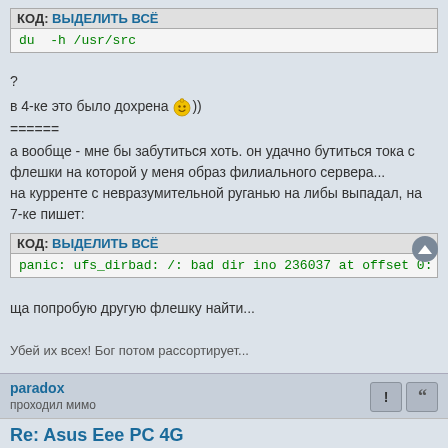КОД: ВЫДЕЛИТЬ ВСЁ
du -h /usr/src
?
в 4-ке это было дохрена :))) ======
а вообще - мне бы забутиться хоть. он удачно бутиться тока с флешки на которой у меня образ филиального сервера...
на курренте с невразумительной руганью на либы выпадал, на 7-ке пишет:
КОД: ВЫДЕЛИТЬ ВСЁ
panic: ufs_dirbad: /: bad dir ino 236037 at offset 0: mangled
ща попробую другую флешку найти...
Убей их всех! Бог потом рассортирует...
paradox
проходил мимо
Re: Asus Eee PC 4G
2008-06-06 13:24:44